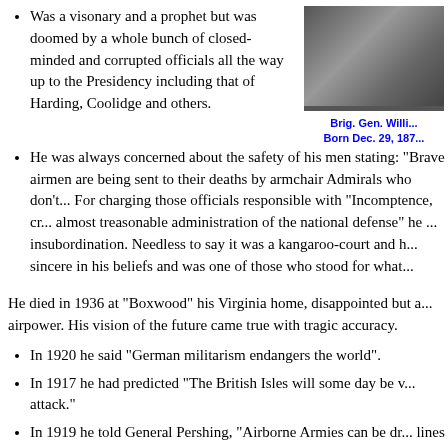Was a visonary and a prophet but was doomed by a whole bunch of closed-minded and corrupted officials all the way up to the Presidency including that of Harding, Coolidge and others.
[Figure (photo): Black and white photograph of Brig. Gen. William Mitchell]
Brig. Gen. Willi... Born Dec. 29, 187...
He was always concerned about the safety of his men stating: "Brave airmen are being sent to their deaths by armchair Admirals who don't... For charging those officials responsible with "Incomptence, cr... almost treasonable administration of the national defense" he ... insubordination. Needless to say it was a kangaroo-court and h... sincere in his beliefs and was one of those who stood for what...
He died in 1936 at "Boxwood" his Virginia home, disappointed but a... airpower. His vision of the future came true with tragic accuracy.
In 1920 he said "German militarism endangers the world".
In 1917 he had predicted "The British Isles will some day be v... attack."
In 1919 he told General Pershing, "Airborne Armies can be dr... lines with devastating effect."
In 1925 he warned "Japan may unleash a war in the Pacific. Sh... by striking first at Hawaii, some fine Sunday morning." "Our ... said, "depends upon Airpower."
In 1930 he said "In the battlefield, power children will see...